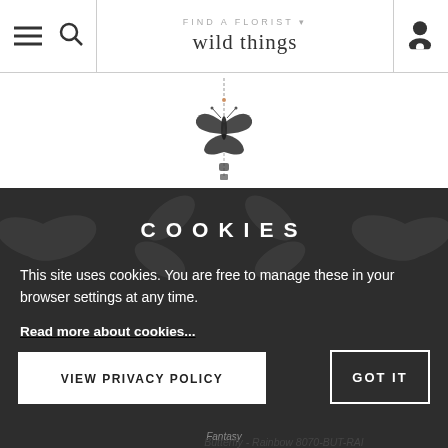wild things
[Figure (photo): A hanging butterfly ornament/suncatcher with a chain, hanging vertically. The butterfly is metallic/dark colored.]
COOKIES
This site uses cookies. You are free to manage these in your browser settings at any time.
Read more about cookies...
VIEW PRIVACY POLICY
GOT IT
Fantasy Butterfly - Rainbow 8070-BUT-RAI